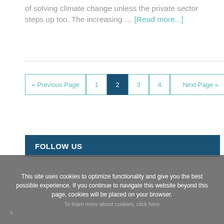of solving climate change unless the private sector steps up too. The increasing … [Read more...]
« Previous Page | 1 | 2 | 3 | 4 | Next Page »
FOLLOW US
This site uses cookies to optimize functionality and give you the best possible experience. If you continue to navigate this website beyond this page, cookies will be placed on your browser.
To learn more about cookies, click here
x